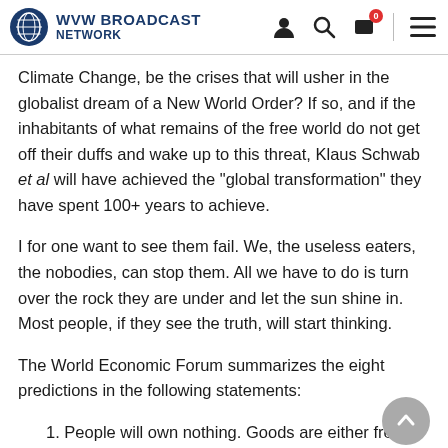WVW BROADCAST NETWORK
Climate Change, be the crises that will usher in the globalist dream of a New World Order? If so, and if the inhabitants of what remains of the free world do not get off their duffs and wake up to this threat, Klaus Schwab et al will have achieved the “global transformation” they have spent 100+ years to achieve.
I for one want to see them fail. We, the useless eaters, the nobodies, can stop them. All we have to do is turn over the rock they are under and let the sun shine in. Most people, if they see the truth, will start thinking.
The World Economic Forum summarizes the eight predictions in the following statements:
1. People will own nothing. Goods are either free of